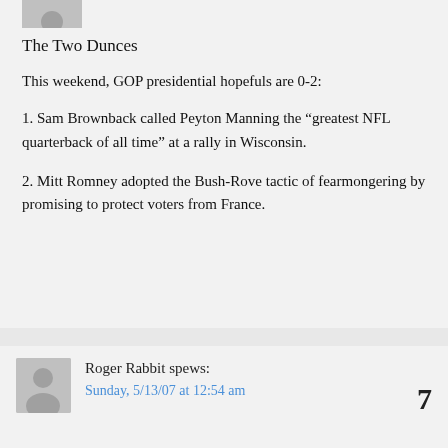[Figure (illustration): Avatar/user icon placeholder (top, partially cropped)]
The Two Dunces
This weekend, GOP presidential hopefuls are 0-2:
1. Sam Brownback called Peyton Manning the “greatest NFL quarterback of all time" at a rally in Wisconsin.
2. Mitt Romney adopted the Bush-Rove tactic of fearmongering by promising to protect voters from France.
[Figure (illustration): Avatar/user icon placeholder for Roger Rabbit comment]
Roger Rabbit spews:
Sunday, 5/13/07 at 12:54 am
7